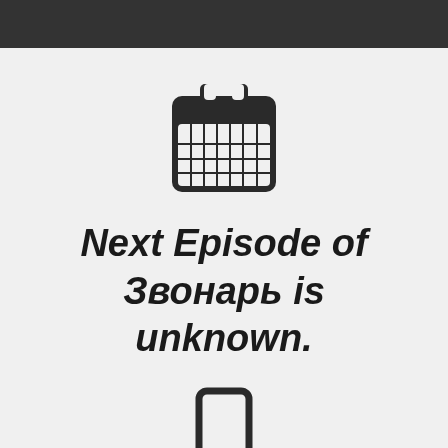[Figure (illustration): Calendar icon — dark rounded rectangle with grid of date cells and two ring bindings at top]
Next Episode of Звонарь is unknown.
[Figure (illustration): Partial mobile phone / screen icon at bottom, cut off by page edge]